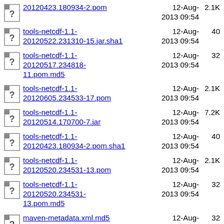20120423.180934-2.pom  12-Aug-2013 09:54  2.1K
tools-netcdf-1.1-20120522.231310-15.jar.sha1  12-Aug-2013 09:54  40
tools-netcdf-1.1-20120517.234818-11.pom.md5  12-Aug-2013 09:54  32
tools-netcdf-1.1-20120605.234533-17.pom  12-Aug-2013 09:54  2.1K
tools-netcdf-1.1-20120514.170700-7.jar  12-Aug-2013 09:54  7.2K
tools-netcdf-1.1-20120423.180934-2.pom.sha1  12-Aug-2013 09:54  40
tools-netcdf-1.1-20120520.234531-13.pom  12-Aug-2013 09:54  2.1K
tools-netcdf-1.1-20120520.234531-13.pom.md5  12-Aug-2013 09:54  32
maven-metadata.xml.md5  12-Aug-2013 09:54  32
tools-netcdf-1.1-20120516.235057-10.jar.sha1  12-Aug-2013 09:54  40
tools-netcdf-1.1-20120515.012820-8.jar  12-Aug-2013 09:54  7.2K